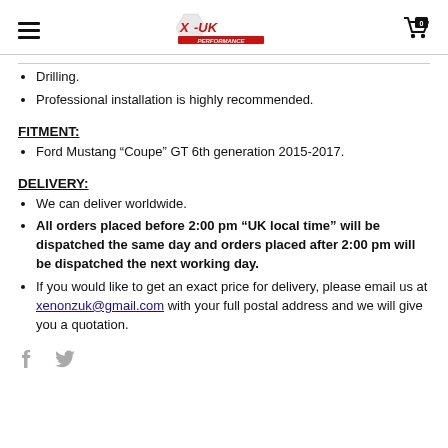X-UK (logo, hamburger menu, cart icon)
Drilling.
Professional installation is highly recommended.
FITMENT:
Ford Mustang "Coupe" GT 6th generation 2015-2017.
DELIVERY:
We can deliver worldwide.
All orders placed before 2:00 pm "UK local time" will be dispatched the same day and orders placed after 2:00 pm will be dispatched the next working day.
If you would like to get an exact price for delivery, please email us at xenonzuk@gmail.com with your full postal address and we will give you a quotation.